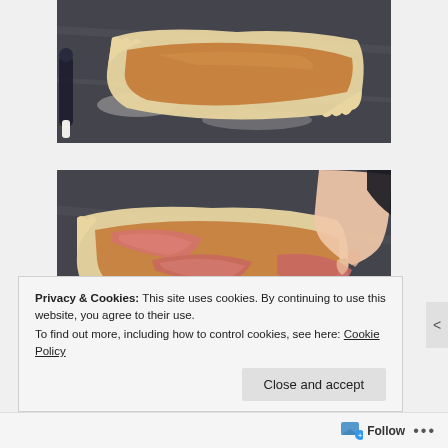[Figure (photo): Photo of rolled-out dough with sauce/filling on a floured dark marble surface, with a rolling pin visible on the left side.]
[Figure (photo): Photo of rolled-out dough with sauce and slices of ham/prosciutto being laid on top, with a hand placing meat near a wooden board, on a floured dark marble surface.]
Privacy & Cookies: This site uses cookies. By continuing to use this website, you agree to their use.
To find out more, including how to control cookies, see here: Cookie Policy
Close and accept
Follow ...